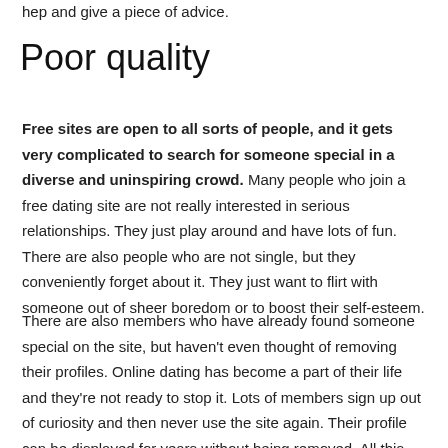hep and give a piece of advice.
Poor quality
Free sites are open to all sorts of people, and it gets very complicated to search for someone special in a diverse and uninspiring crowd. Many people who join a free dating site are not really interested in serious relationships. They just play around and have lots of fun. There are also people who are not single, but they conveniently forget about it. They just want to flirt with someone out of sheer boredom or to boost their self-esteem.
There are also members who have already found someone special on the site, but haven't even thought of removing their profiles. Online dating has become a part of their life and they're not ready to stop it. Lots of members sign up out of curiosity and then never use the site again. Their profile can be displayed for years without being removed. All this makes a free Ukrainian dating site a tricky